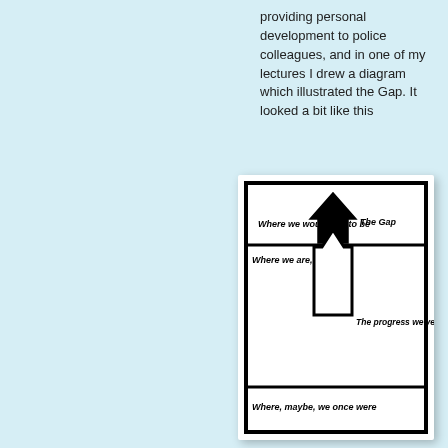providing personal development to police colleagues, and in one of my lectures I drew a diagram which illustrated the Gap. It looked a bit like this
[Figure (infographic): Diagram illustrating 'The Gap' concept with three horizontal sections divided by two heavy horizontal lines. Top section: 'Where we would like to be' with a solid filled upward arrow and label 'The Gap' to the right. Middle section: 'Where we are, now' with a large outline upward arrow and label 'The progress we've made' to the right. Bottom section: 'Where, maybe, we once were'.]